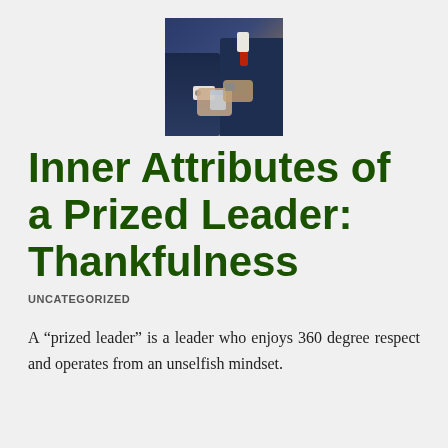[Figure (photo): Two people in business attire, one appearing to hand or hold a glass, in a meeting or handshake context.]
Inner Attributes of a Prized Leader: Thankfulness
UNCATEGORIZED
A “prized leader” is a leader who enjoys 360 degree respect and operates from an unselfish mindset.